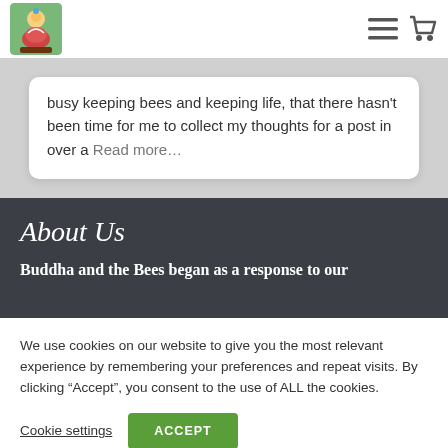[Figure (logo): Buddha and the Bees logo - colorful illustration of Buddha figure with green background]
busy keeping bees and keeping life, that there hasn't been time for me to collect my thoughts for a post in over a Read more…
About Us
Buddha and the Bees began as a response to our
We use cookies on our website to give you the most relevant experience by remembering your preferences and repeat visits. By clicking “Accept”, you consent to the use of ALL the cookies.
Cookie settings
ACCEPT